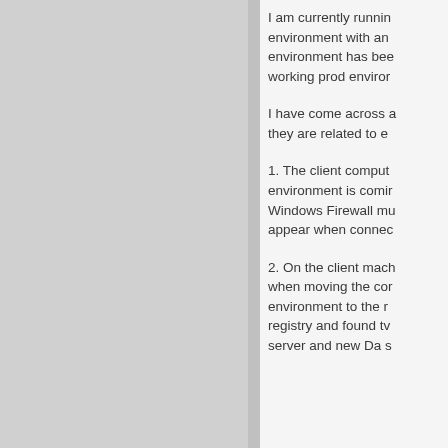I am currently running environment with an environment has been working prod environment
I have come across a they are related to e
1. The client computer environment is coming Windows Firewall must appear when connected
2. On the client machine when moving the computer environment to the new registry and found two server and new Da s